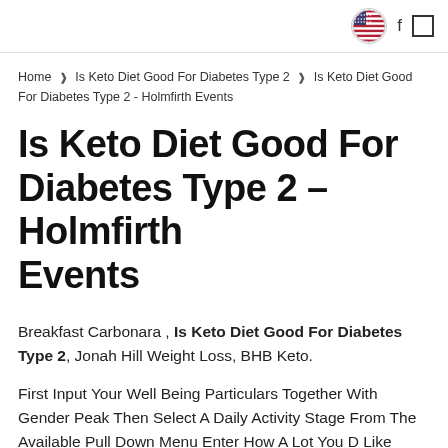[US flag icon] [search icon] [menu icon]
Home ❯ Is Keto Diet Good For Diabetes Type 2 ❯ Is Keto Diet Good For Diabetes Type 2 - Holmfirth Events
Is Keto Diet Good For Diabetes Type 2 – Holmfirth Events
Breakfast Carbonara , Is Keto Diet Good For Diabetes Type 2, Jonah Hill Weight Loss, BHB Keto.
First Input Your Well Being Particulars Together With Gender Peak Then Select A Daily Activity Stage From The Available Pull Down Menu Enter How A Lot You D Like